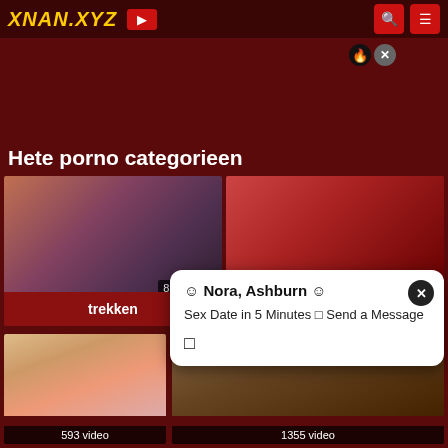XNAN.XYZ
Hete porno categorieen
[Figure (photo): Thumbnail image for category 'trekken' with 886 video count]
trekken
[Figure (photo): Thumbnail image for category 'echtgenote' with 9525 video count]
echtgenote
[Figure (photo): Thumbnail image bottom left with 593 video count]
[Figure (photo): Thumbnail image bottom right with 1355 video count]
☺ Nora, Ashburn ☺
Sex Date in 5 Minutes □ Send a Message
□